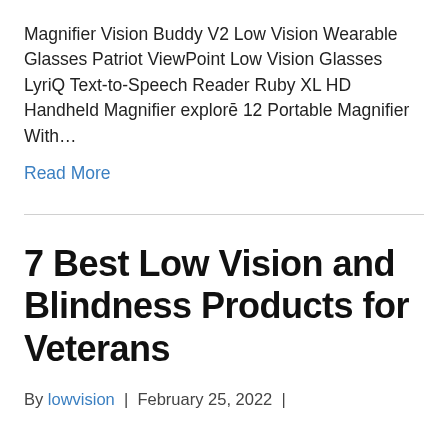Magnifier Vision Buddy V2 Low Vision Wearable Glasses Patriot ViewPoint Low Vision Glasses LyriQ Text-to-Speech Reader Ruby XL HD Handheld Magnifier explorē 12 Portable Magnifier With...
Read More
7 Best Low Vision and Blindness Products for Veterans
By lowvision | February 25, 2022 |